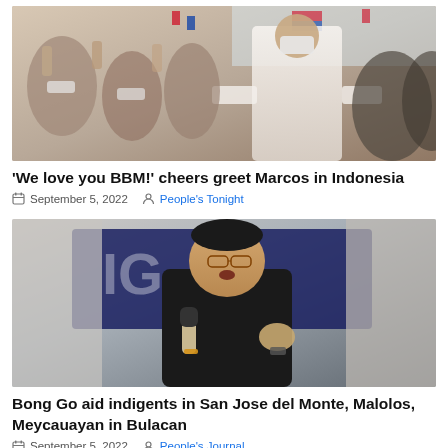[Figure (photo): Crowd scene with people in masks greeting a man in white barong at an event, Philippine flags visible]
'We love you BBM!' cheers greet Marcos in Indonesia
September 5, 2022   People's Tonight
[Figure (photo): Man in black polo shirt speaking into a microphone at a podium, wearing glasses]
Bong Go aid indigents in San Jose del Monte, Malolos, Meycauayan in Bulacan
September 5, 2022   People's Journal